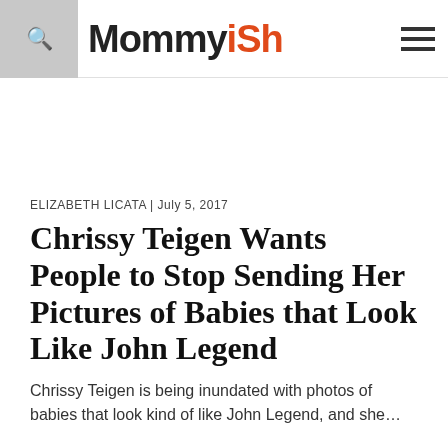Mommyish
ELIZABETH LICATA | July 5, 2017
Chrissy Teigen Wants People to Stop Sending Her Pictures of Babies that Look Like John Legend
Chrissy Teigen is being inundated with photos of babies that look kind of like John Legend, and she...